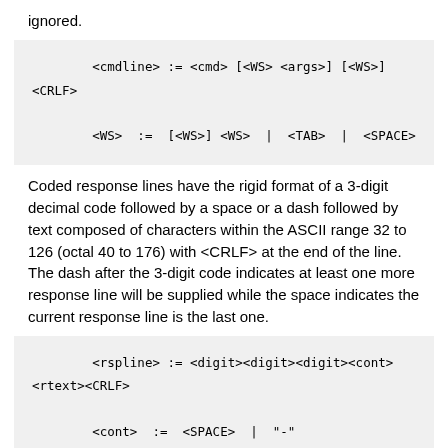ignored.
Coded response lines have the rigid format of a 3-digit decimal code followed by a space or a dash followed by text composed of characters within the ASCII range 32 to 126 (octal 40 to 176) with <CRLF> at the end of the line. The dash after the 3-digit code indicates at least one more response line will be supplied while the space indicates the current response line is the last one.